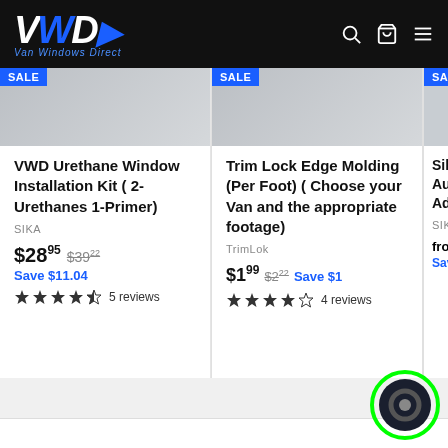[Figure (logo): VWD Van Windows Direct logo with white and blue letters on black header bar]
VWD Urethane Window Installation Kit ( 2-Urethanes 1-Primer)
SIKA
$28.95  $39.22  Save $11.04  ★★★★½  5 reviews
Trim Lock Edge Molding (Per Foot) ( Choose your Van and the appropriate footage)
TrimLok
$1.99  $2.22  Save $1  ★★★★☆  4 reviews
SikaF... Autom... Adhe...
SIKA
from $  Save $